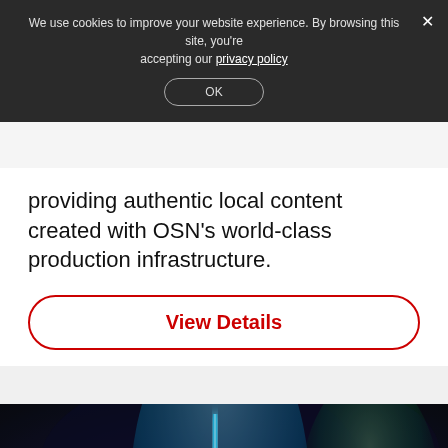We use cookies to improve your website experience. By browsing this site, you're accepting our privacy policy
providing authentic local content created with OSN's world-class production infrastructure.
View Details
[Figure (photo): Movie promotional photo showing characters in a dark sci-fi setting with blue and green lightsabers. Three characters visible: one on the left, a woman in center holding a glowing blue lightsaber, and one on the right holding a weapon. Dark cinematic tone with blue lighting.]